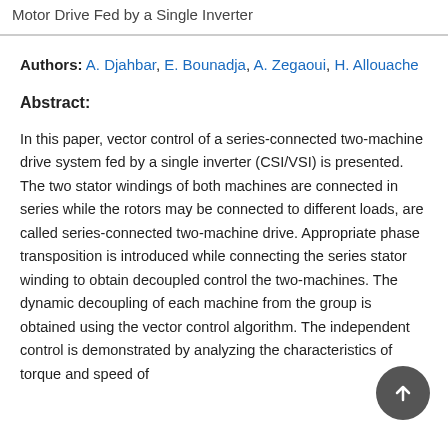Motor Drive Fed by a Single Inverter
Authors: A. Djahbar, E. Bounadja, A. Zegaoui, H. Allouache
Abstract:
In this paper, vector control of a series-connected two-machine drive system fed by a single inverter (CSI/VSI) is presented. The two stator windings of both machines are connected in series while the rotors may be connected to different loads, are called series-connected two-machine drive. Appropriate phase transposition is introduced while connecting the series stator winding to obtain decoupled control the two-machines. The dynamic decoupling of each machine from the group is obtained using the vector control algorithm. The independent control is demonstrated by analyzing the characteristics of torque and speed of